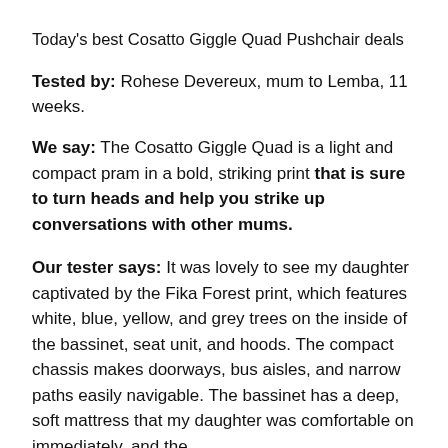Today's best Cosatto Giggle Quad Pushchair deals
Tested by: Rohese Devereux, mum to Lemba, 11 weeks.
We say: The Cosatto Giggle Quad is a light and compact pram in a bold, striking print that is sure to turn heads and help you strike up conversations with other mums.
Our tester says: It was lovely to see my daughter captivated by the Fika Forest print, which features white, blue, yellow, and grey trees on the inside of the bassinet, seat unit, and hoods. The compact chassis makes doorways, bus aisles, and narrow paths easily navigable. The bassinet has a deep, soft mattress that my daughter was comfortable on immediately, and the